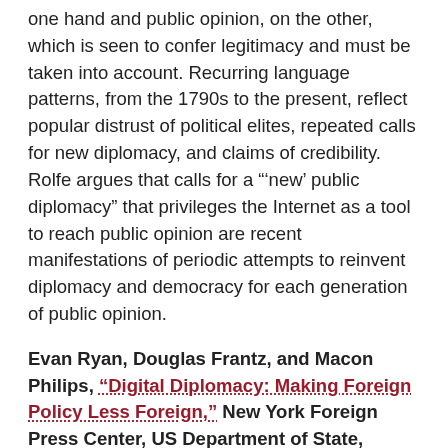one hand and public opinion, on the other, which is seen to confer legitimacy and must be taken into account. Recurring language patterns, from the 1790s to the present, reflect popular distrust of political elites, repeated calls for new diplomacy, and claims of credibility. Rolfe argues that calls for a "'new' public diplomacy" that privileges the Internet as a tool to reach public opinion are recent manifestations of periodic attempts to reinvent diplomacy and democracy for each generation of public opinion.
Evan Ryan, Douglas Frantz, and Macon Philips, "Digital Diplomacy: Making Foreign Policy Less Foreign," New York Foreign Press Center, US Department of State, February 18, 2014. Ryan (Assistant Secretary, Bureau of Educational and Cultural Affairs), Frantz (Assistant Secretary, Bureau of Public Affairs), and Philips (Coordinator for International Information Programs) respond to